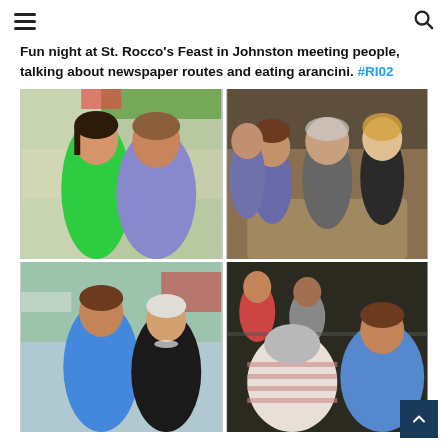Navigation header with menu and search icons
Fun night at St. Rocco's Feast in Johnston meeting people, talking about newspaper routes and eating arancini. #RI02
[Figure (photo): Four photographs from St. Rocco's Feast in Johnston: top-left shows two women smiling (one in green shirt, one in blue), top-right shows a group of four people at a table, bottom-left shows two women smiling (one younger in blue, one older in black), bottom-right shows a woman in blue speaking with an older person whose back is to the camera.]